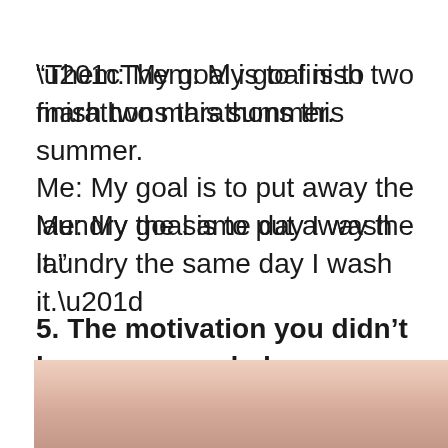“Them: My goal is to finish two marathons this summer.

Me: My goal is to put away the laundry the same day I wash it.”
5. The motivation you didn’t know you needed.
[Figure (photo): Partial photo of a person wearing a pink/salmon colored top, cropped to show upper chest/shoulder area only, at the bottom of the page.]